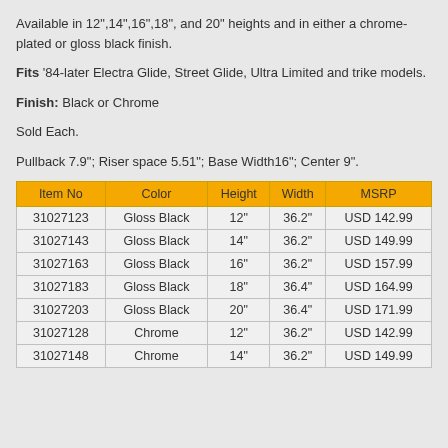Available in 12",14",16",18", and 20" heights and in either a chrome-plated or gloss black finish.
Fits '84-later Electra Glide, Street Glide, Ultra Limited and trike models.
Finish: Black or Chrome
Sold Each.
Pullback 7.9"; Riser space 5.51"; Base Width16"; Center 9".
| Item No | Color | Height | Width | MSRP |
| --- | --- | --- | --- | --- |
| 31027123 | Gloss Black | 12" | 36.2" | USD 142.99 |
| 31027143 | Gloss Black | 14" | 36.2" | USD 149.99 |
| 31027163 | Gloss Black | 16" | 36.2" | USD 157.99 |
| 31027183 | Gloss Black | 18" | 36.4" | USD 164.99 |
| 31027203 | Gloss Black | 20" | 36.4" | USD 171.99 |
| 31027128 | Chrome | 12" | 36.2" | USD 142.99 |
| 31027148 | Chrome | 14" | 36.2" | USD 149.99 |